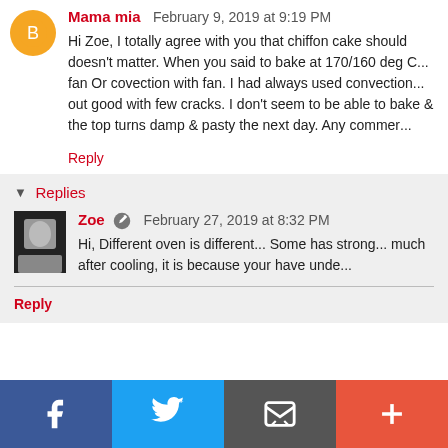Mama mia February 9, 2019 at 9:19 PM
Hi Zoe, I totally agree with you that chiffon cake shou... doesn't matter. When you said to bake at 170/160 deg C... fan Or covection with fan. I had always used convection... out good with few cracks. I don't seem to be able to bak... & the top turns damp & pasty the next day. Any commer...
Reply
Replies
Zoe February 27, 2019 at 8:32 PM
Hi, Different oven is different... Some has stron... much after cooling, it is because your have unde...
Reply